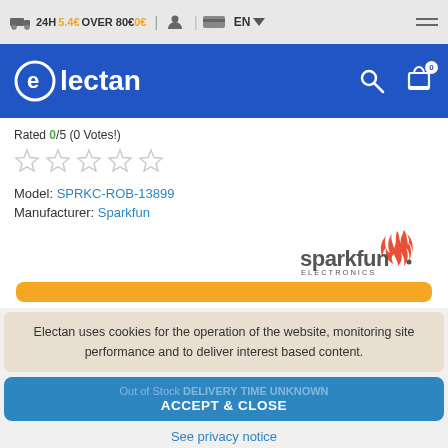24H 5.4€ OVER 80€ 0€ | EN
[Figure (logo): Electan e-commerce logo on blue navigation bar with search and cart icons]
Rated 0/5 (0 Votes!)
Model: SPRKC-ROB-13899
Manufacturer: Sparkfun
[Figure (logo): SparkFun Electronics logo with red flame and text sparkfun. ELECTRONICS]
Electan uses cookies for the operation of the website, monitoring site performance and to deliver interest based content.
ACCEPT & CLOSE
See privacy notice